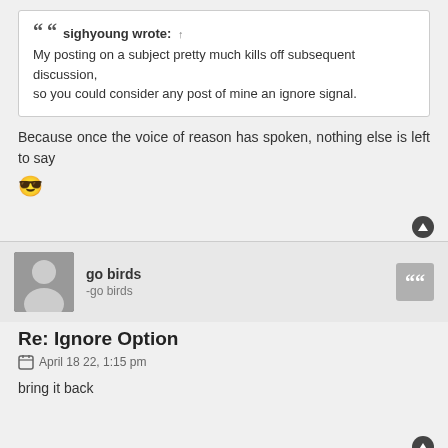sighyoung wrote: ↑ My posting on a subject pretty much kills off subsequent discussion, so you could consider any post of mine an ignore signal.
Because once the voice of reason has spoken, nothing else is left to say 😎
go birds
-go birds
Re: Ignore Option
April 18 22, 1:15 pm
bring it back
TGantz
R-E-S-P-E-C-T...What Dr Pepper Means to Me
Re: Ignore Option
April 20 22, 9:11 am